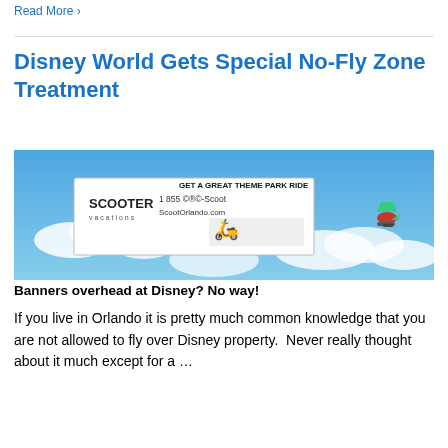Read More ›
Disney World Gets Special No-Fly Zone Treatment
[Figure (photo): Advertising banner showing scooters for rent with a small red airplane flying in a blue sky with clouds, promoting ScooterOrlando.com with text 'GET A GREAT THEME PARK RIDE' and '1 855 ©®©-Scoot']
Banners overhead at Disney? No way!
If you live in Orlando it is pretty much common knowledge that you are not allowed to fly over Disney property.  Never really thought about it much except for a …
READ MORE...